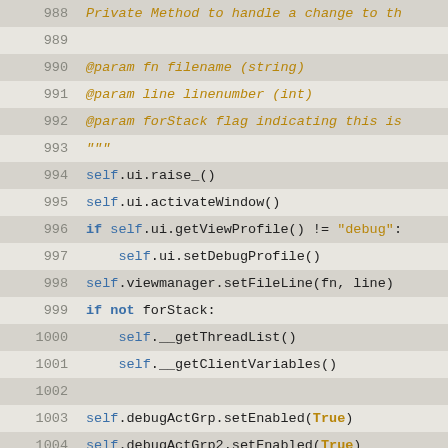[Figure (screenshot): Source code viewer showing Python code lines 988-1014 with line numbers, syntax highlighting. Alternating shaded rows. Keywords in bold blue, strings/docstrings in orange italic, identifiers in blue.]